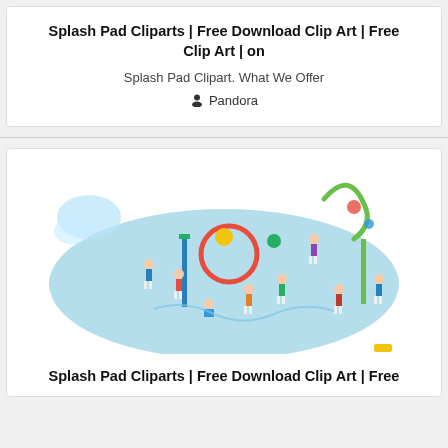Splash Pad Cliparts | Free Download Clip Art | Free Clip Art | on
Splash Pad Clipart. What We Offer
Pandora
[Figure (illustration): Illustration of children playing at a splash pad water park with various water play equipment including sprinklers and water features on a blue surface]
Splash Pad Cliparts | Free Download Clip Art | Free